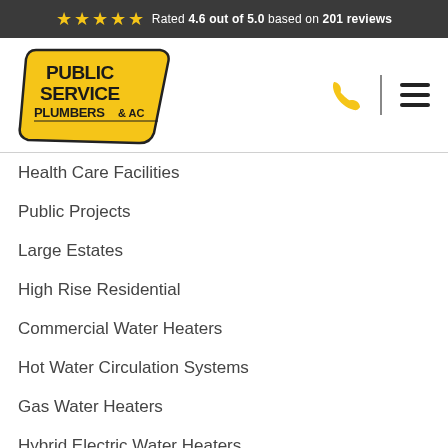Rated 4.6 out of 5.0 based on 201 reviews
[Figure (logo): Public Service Plumbers & AC logo - yellow badge shape with black bold text]
Health Care Facilities
Public Projects
Large Estates
High Rise Residential
Commercial Water Heaters
Hot Water Circulation Systems
Gas Water Heaters
Hybrid Electric Water Heaters
Electric Water Heaters
Tankless Water Heaters
Sewer Camera Inspection